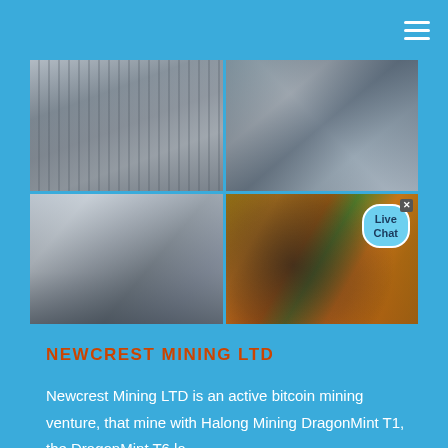[Figure (photo): Four-panel grid of industrial mining facility photos: top-left shows an industrial plant with smokestacks and towers, top-right shows mining conveyor/screening equipment, bottom-left shows a large ball mill inside a factory building, bottom-right shows a large rotating drum/ball mill with a Live Chat bubble overlay and orange/green machinery]
NEWCREST MINING LTD
Newcrest Mining LTD is an active bitcoin mining venture, that mine with Halong Mining DragonMint T1, the DragonMint T6 la...